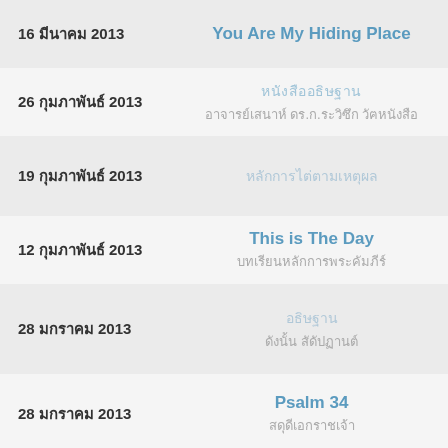16 xxxxxxxx 2013 | You Are My Hiding Place
26 xxxxxxx 2013 | xxxxxxxxxxxxxxx / xxxxxxxxxxxxxxxxxxx xx.x.xx.xxxxxxx xxxxxxxx
19 xxxxxxx 2013 | xxxxxxxxxxxxxxxxxxxxxxxxx
12 xxxxxxx 2013 | This is The Day / xxxxxxxxxxxxxxxxxxxxxxxxxxxxxxxxxx
28 xxxxxx 2013 | xxxxxxx / xxxxxxxxx xxxxxxxxx
28 xxxxxx 2013 | Psalm 34 / xxxxxxxxxxxxxxxx